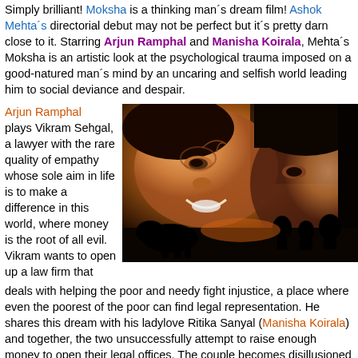Simply brilliant! Moksha is a thinking man's dream film! Ashok Mehta's directorial debut may not be perfect but it's pretty darn close to it. Starring Arjun Ramphal and Manisha Koirala, Mehta's Moksha is an artistic look at the psychological trauma imposed on a good-natured man's mind by an uncaring and selfish world leading him to social deviance and despair.
Arjun Ramphal plays Vikram Sehgal, a lawyer with the rare quality of empathy whose sole aim in life is to make a difference in this world, where money is the root of all evil. Vikram wants to open up a law firm that deals with helping the poor and needy fight injustice, a place where even the poorest of the poor can find legal representation. He shares this dream with his ladylove Ritika Sanyal (Manisha Koirala) and together, the two unsuccessfully attempt to raise enough money to open their legal offices. The couple becomes disillusioned with the
[Figure (photo): A romantic close-up photo of Arjun Ramphal and Manisha Koirala from the film Moksha, showing the two actors in an intimate pose with warm amber/orange tones, and a silhouetted scene of people in the lower portion.]